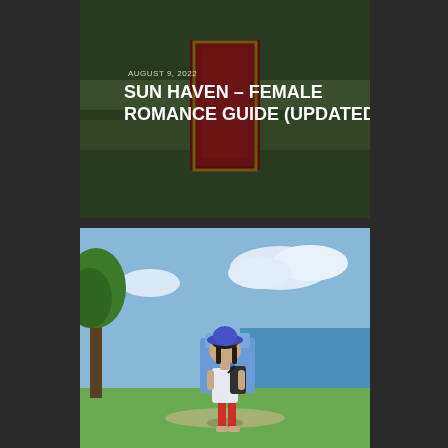[Figure (screenshot): Top card showing a game screenshot from Sun Haven with colorful fantasy characters/creatures displayed on shelves against a green background with a red door, semi-darkened overlay. Date 'AUGUST 9, 2022' and title 'SUN HAVEN – FEMALE ROMANCE GUIDE (UPDATED)' overlaid in white text.]
[Figure (screenshot): Bottom screenshot from Sun Haven game showing a female character with a blue hat and red skirt carrying a backpack, standing in a sunny coastal town scene with blue sky, ocean, palm trees, and colorful buildings.]